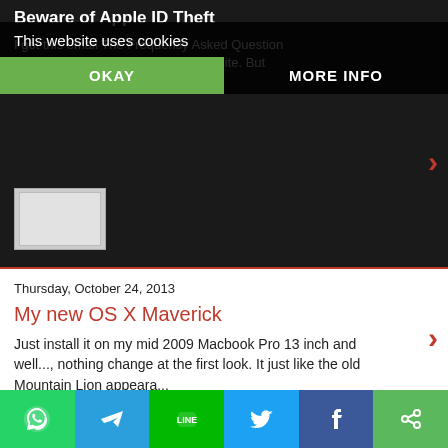Beware of Apple ID Theft
I got this email The Frequently Asked Question list is click... t to official apple website. But ify Now"...
This website uses cookies
OKAY
MORE INFO
Thursday, October 24, 2013
My new OS X Maverick
Just install it on my mid 2009 Macbook Pro 13 inch and well..., nothing change at the first look. It just like the old Mountain Lion appeara...
Friday, May 3, 2013
Stuck on DFU or Recovery Mode or Connect to Itunes Logo Loop on iPhone
I n the recent months, we've seen reports here and there of iPhones getting stuck in a restart loop. The bla
[Figure (screenshot): Social sharing bar with WhatsApp, Telegram, Line, Twitter, Facebook, and other share icons]